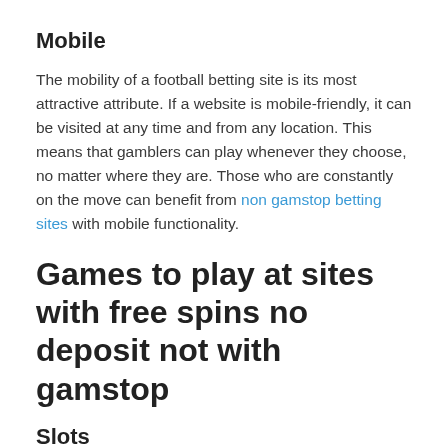Mobile
The mobility of a football betting site is its most attractive attribute. If a website is mobile-friendly, it can be visited at any time and from any location. This means that gamblers can play whenever they choose, no matter where they are. Those who are constantly on the move can benefit from non gamstop betting sites with mobile functionality.
Games to play at sites with free spins no deposit not with gamstop
Slots